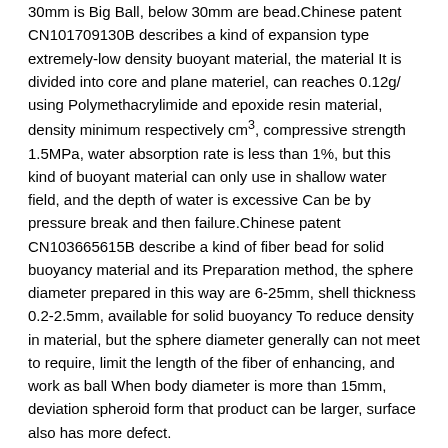30mm is Big Ball, below 30mm are bead.Chinese patent CN101709130B describes a kind of expansion type extremely-low density buoyant material, the material It is divided into core and plane materiel, can reaches 0.12g/ using Polymethacrylimide and epoxide resin material, density minimum respectively cm3, compressive strength 1.5MPa, water absorption rate is less than 1%, but this kind of buoyant material can only use in shallow water field, and the depth of water is excessive Can be by pressure break and then failure.Chinese patent CN103665615B describe a kind of fiber bead for solid buoyancy material and its Preparation method, the sphere diameter prepared in this way are 6-25mm, shell thickness 0.2-2.5mm, available for solid buoyancy To reduce density in material, but the sphere diameter generally can not meet to require, limit the length of the fiber of enhancing, and work as ball When body diameter is more than 15mm, deviation spheroid form that product can be larger, surface also has more defect.
The content of the invention
The technical problems to be solved by the invention are to overcome the shortcomings of to mention in background above technology and defect, there is provided a kind of